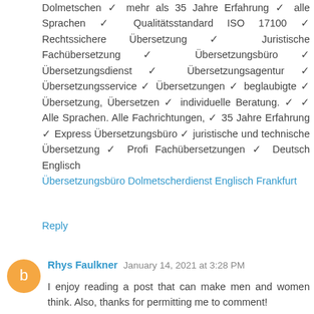Dolmetschen ✓ mehr als 35 Jahre Erfahrung ✓ alle Sprachen ✓ Qualitätsstandard ISO 17100 ✓ Rechtssichere Übersetzung ✓ Juristische Fachübersetzung ✓ Übersetzungsbüro ✓ Übersetzungsdienst ✓ Übersetzungsagentur ✓ Übersetzungsservice ✓ Übersetzungen ✓ beglaubigte ✓ Übersetzung, Übersetzen ✓ individuelle Beratung. ✓ ✓ Alle Sprachen. Alle Fachrichtungen, ✓ 35 Jahre Erfahrung ✓ Express Übersetzungsbüro ✓ juristische und technische Übersetzung ✓ Profi Fachübersetzungen ✓ Deutsch Englisch
Übersetzungsbüro Dolmetscherdienst Englisch Frankfurt
Reply
Rhys Faulkner  January 14, 2021 at 3:28 PM
I enjoy reading a post that can make men and women think. Also, thanks for permitting me to comment!